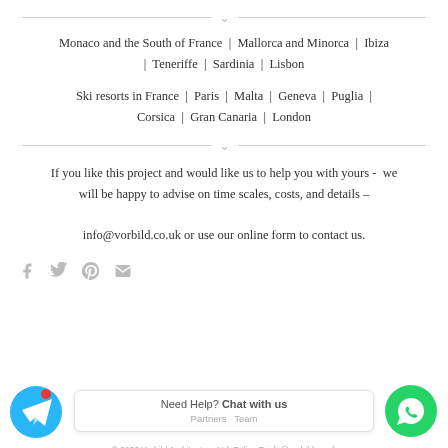Monaco and the South of France | Mallorca and Minorca | Ibiza | Teneriffe | Sardinia | Lisbon
Ski resorts in France | Paris | Malta | Geneva | Puglia | Corsica | Gran Canaria | London
If you like this project and would like us to help you with yours - we will be happy to advise on time scales, costs, and details – info@vorbild.co.uk or use our online form to contact us.
[Figure (other): Social share icons: Facebook, Twitter, Pinterest, Email]
[Figure (other): Telegram chat button (blue circle with paper plane icon and red notification dot), a 'Need Help? Chat with us' box with Partners and Team links, and a WhatsApp button (green circle with phone icon)]
© 2022 Vorbild Architecture Ltd. Policy E info@vorbild.co.uk